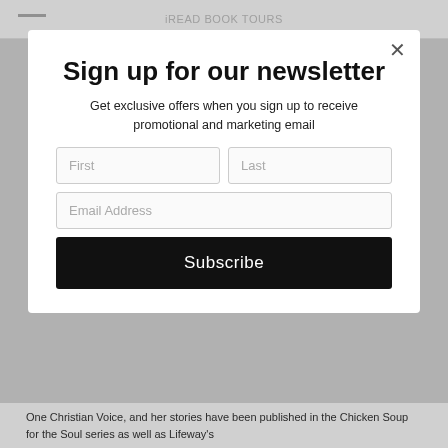iREAD BOOK TOURS
Sign up for our newsletter
Get exclusive offers when you sign up to receive promotional and marketing email
First | Last | Email Address | Subscribe
One Christian Voice, and her stories have been published in the Chicken Soup for the Soul series as well as Lifeway's